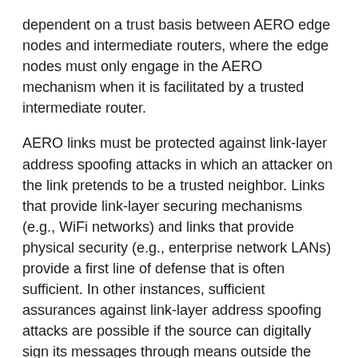dependent on a trust basis between AERO edge nodes and intermediate routers, where the edge nodes must only engage in the AERO mechanism when it is facilitated by a trusted intermediate router.
AERO links must be protected against link-layer address spoofing attacks in which an attacker on the link pretends to be a trusted neighbor. Links that provide link-layer securing mechanisms (e.g., WiFi networks) and links that provide physical security (e.g., enterprise network LANs) provide a first line of defense that is often sufficient. In other instances, sufficient assurances against link-layer address spoofing attacks are possible if the source can digitally sign its messages through means outside the scope of this document.
9. Acknowledgements
Discussions both on the v6ops list and in private exchanges helped shape some of the concepts in this work. Individuals who contributed insights include Mikael Abrahamsson, Fred